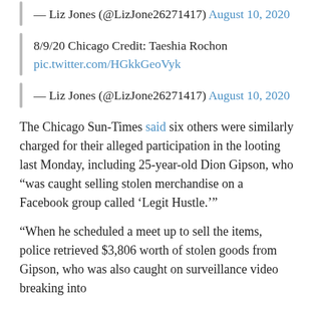— Liz Jones (@LizJone26271417) August 10, 2020
8/9/20 Chicago Credit: Taeshia Rochon
pic.twitter.com/HGkkGeoVyk
— Liz Jones (@LizJone26271417) August 10, 2020
The Chicago Sun-Times said six others were similarly charged for their alleged participation in the looting last Monday, including 25-year-old Dion Gipson, who “was caught selling stolen merchandise on a Facebook group called ‘Legit Hustle.’”
“When he scheduled a meet up to sell the items, police retrieved $3,806 worth of stolen goods from Gipson, who was also caught on surveillance video breaking into